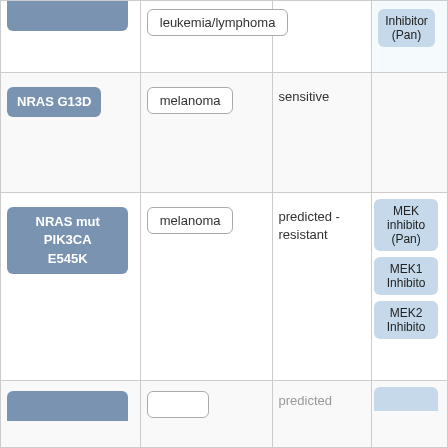| Alteration | Cancer Type | Response | Drug |
| --- | --- | --- | --- |
| leukemia/lymphoma (badge, cropped top) | leukemia/lymphoma |  | Inhibitor (Pan) (cropped) |
| NRAS G13D | melanoma | sensitive |  |
| NRAS mut PIK3CA E545K | melanoma | predicted - resistant | MEK inhibitor (Pan)
MEK1 Inhibitor
MEK2 Inhibitor |
| (partial, cropped) | (partial) | predicted | (partial) |